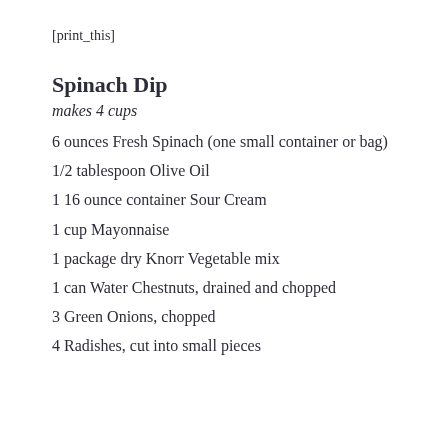[print_this]
Spinach Dip
makes 4 cups
6 ounces Fresh Spinach (one small container or bag)
1/2 tablespoon Olive Oil
1 16 ounce container Sour Cream
1 cup Mayonnaise
1 package dry Knorr Vegetable mix
1 can Water Chestnuts, drained and chopped
3 Green Onions, chopped
4 Radishes, cut into small pieces